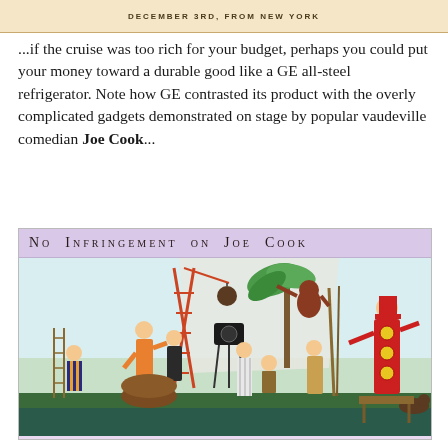DECEMBER 3RD, FROM NEW YORK
...if the cruise was too rich for your budget, perhaps you could put your money toward a durable good like a GE all-steel refrigerator. Note how GE contrasted its product with the overly complicated gadgets demonstrated on stage by popular vaudeville comedian Joe Cook...
[Figure (illustration): Vintage comic illustration titled 'No Infringement on Joe Cook' showing a chaotic vaudeville stage scene with multiple costumed performers, a large crane, various gadgets and machines, palm tree, and a tall figure in a red costume with circular decorations on the right side.]